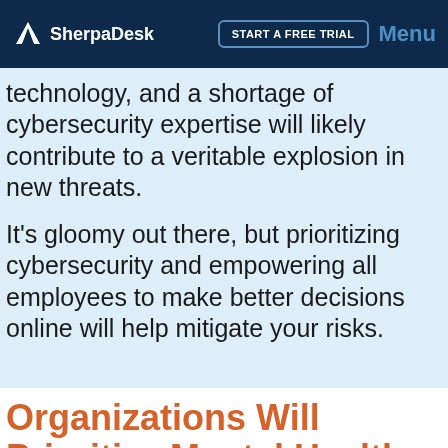SherpaDesk | START A FREE TRIAL | Menu
technology, and a shortage of cybersecurity expertise will likely contribute to a veritable explosion in new threats.
It's gloomy out there, but prioritizing cybersecurity and empowering all employees to make better decisions online will help mitigate your risks.
Organizations Will Prioritize Mental Health